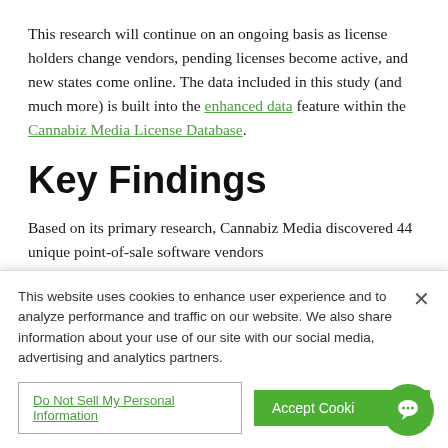This research will continue on an ongoing basis as license holders change vendors, pending licenses become active, and new states come online. The data included in this study (and much more) is built into the enhanced data feature within the Cannabiz Media License Database.
Key Findings
Based on its primary research, Cannabiz Media discovered 44 unique point-of-sale software vendors
This website uses cookies to enhance user experience and to analyze performance and traffic on our website. We also share information about your use of our site with our social media, advertising and analytics partners.
Do Not Sell My Personal Information
Accept Cooki